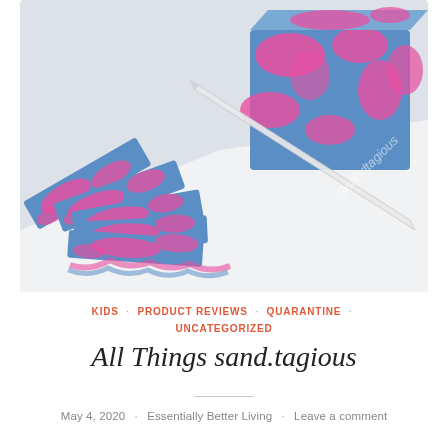[Figure (photo): Colorful pink and blue marbled soap bars being cut, with a knife slicing through a loaf, showing multiple slices fanned out. Watermark '@sandtagious' visible on the image.]
KIDS · PRODUCT REVIEWS · QUARANTINE · UNCATEGORIZED
All Things sand.tagious
May 4, 2020 · Essentially Better Living · Leave a comment